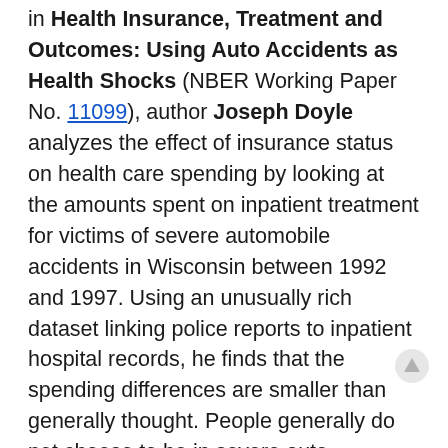in Health Insurance, Treatment and Outcomes: Using Auto Accidents as Health Shocks (NBER Working Paper No. 11099), author Joseph Doyle analyzes the effect of insurance status on health care spending by looking at the amounts spent on inpatient treatment for victims of severe automobile accidents in Wisconsin between 1992 and 1997. Using an unusually rich dataset linking police reports to inpatient hospital records, he finds that the spending differences are smaller than generally thought. People generally do not choose to be in severe auto accidents, so the estimate of only a 20 percent spending difference between the insured and the uninsured suggests that earlier estimates of the effect of health insurance on health spending indeed may have been inflated (by people who bought health insurance only if they knew they would need it.)
Facility charges for the uninsured were about 22